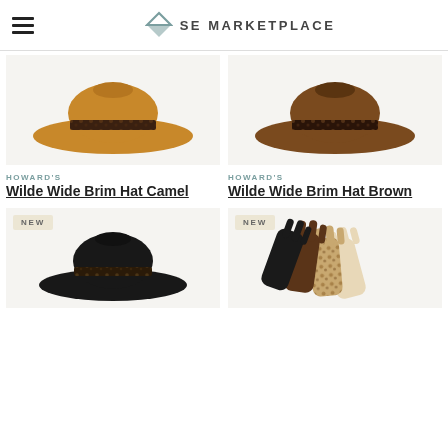SE MARKETPLACE
[Figure (photo): Camel wide brim felt hat with leopard print band]
HOWARD'S
Wilde Wide Brim Hat Camel
[Figure (photo): Brown wide brim felt hat with leopard print band]
HOWARD'S
Wilde Wide Brim Hat Brown
[Figure (photo): Black wide brim hat with NEW badge]
[Figure (photo): Gloves collection with leopard print, brown, black and cream with NEW badge]